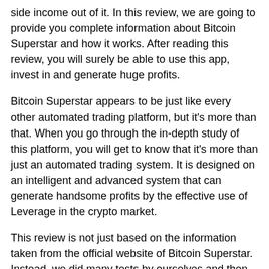side income out of it. In this review, we are going to provide you complete information about Bitcoin Superstar and how it works. After reading this review, you will surely be able to use this app, invest in and generate huge profits.
Bitcoin Superstar appears to be just like every other automated trading platform, but it's more than that. When you go through the in-depth study of this platform, you will get to know that it's more than just an automated trading system. It is designed on an intelligent and advanced system that can generate handsome profits by the effective use of Leverage in the crypto market.
This review is not just based on the information taken from the official website of Bitcoin Superstar. Instead, we did many tests by ourselves and then combined our experience with official details. After reading this review, you will get to know more about this trading platform. It benefits the working process and how you can start your trading.